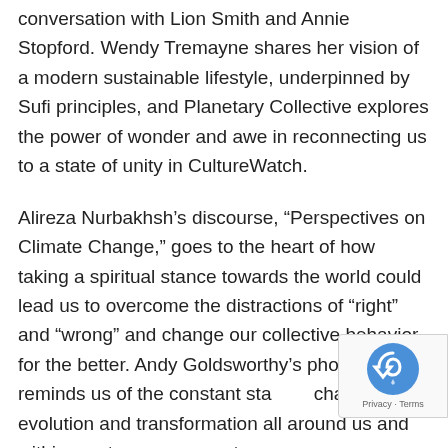conversation with Lion Smith and Annie Stopford. Wendy Tremayne shares her vision of a modern sustainable lifestyle, underpinned by Sufi principles, and Planetary Collective explores the power of wonder and awe in reconnecting us to a state of unity in CultureWatch.
Alireza Nurbakhsh’s discourse, “Perspectives on Climate Change,” goes to the heart of how taking a spiritual stance towards the world could lead us to overcome the distractions of “right” and “wrong” and change our collective behavior for the better. Andy Goldsworthy’s photo essay reminds us of the constant state of change, evolution and transformation all around us and within us at every moment.
[Figure (other): Google reCAPTCHA badge overlay in the bottom-right corner with recycling-arrow logo icon and Privacy - Terms text]